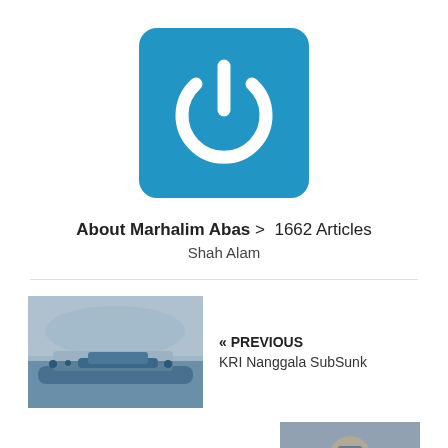[Figure (logo): Blue square logo with white power/on button symbol]
About Marhalim Abas > 1662 Articles
Shah Alam
[Figure (photo): Submarine at sea in misty conditions with crew on deck]
« PREVIOUS
KRI Nanggala SubSunk
[Figure (photo): Police/military officer in uniform at podium outdoors]
NEXT »
New IGP Appointed